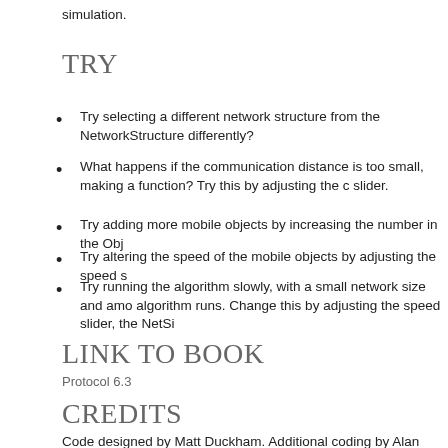simulation.
TRY
Try selecting a different network structure from the NetworkStructure differently?
What happens if the communication distance is too small, making a function? Try this by adjusting the c slider.
Try adding more mobile objects by increasing the number in the Obj
Try altering the speed of the mobile objects by adjusting the speed s
Try running the algorithm slowly, with a small network size and amo algorithm runs. Change this by adjusting the speed slider, the NetSi
LINK TO BOOK
Protocol 6.3
CREDITS
Code designed by Matt Duckham. Additional coding by Alan Both.
LICENSE